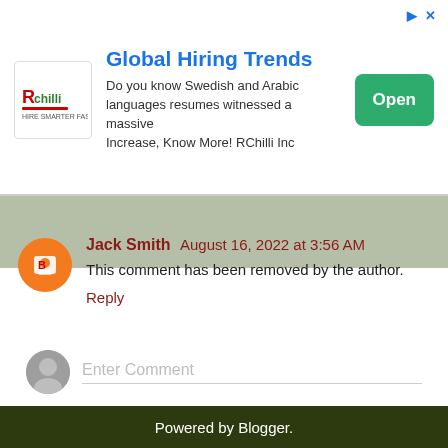[Figure (infographic): Ad banner for RChilli Global Hiring Trends with logo, text, and Open button]
Global Hiring Trends
Do you know Swedish and Arabic languages resumes witnessed a massive Increase, Know More! RChilli Inc
Jack Smith August 16, 2022 at 3:56 AM
This comment has been removed by the author.
Reply
Enter Comment
Home
View web version
Powered by Blogger.